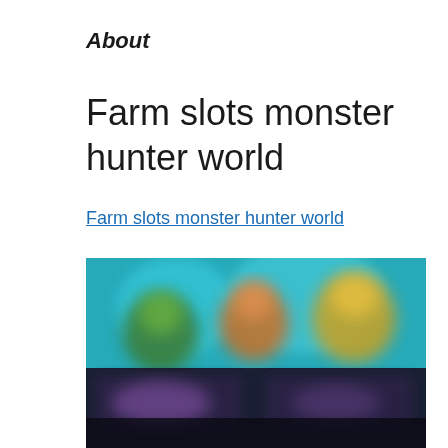About
Farm slots monster hunter world
Farm slots monster hunter world
[Figure (screenshot): Blurred screenshot of a slot machine or game interface featuring colorful cartoon characters on a dark background with game UI elements.]